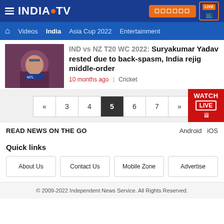INDIA TV — Navigation: Videos, India, Asia Cup 2022, Entertainment
IND vs NZ T20 WC 2022: Suryakumar Yadav rested due to back-spasm, India rejig middle-order
10 months ago | Cricket
« 3 4 5 6 7 »
READ NEWS ON THE GO   Android   iOS
Quick links
About Us
Contact Us
Mobile Zone
Advertise
© 2009-2022 Independent News Service. All Rights Reserved.